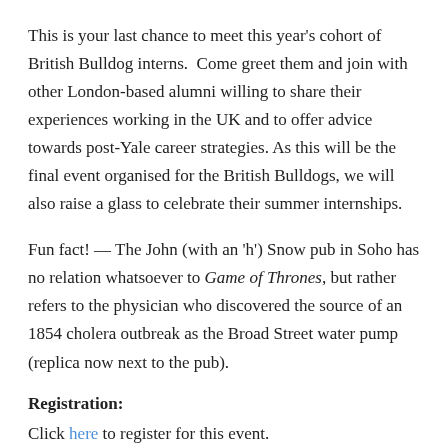This is your last chance to meet this year's cohort of British Bulldog interns.  Come greet them and join with other London-based alumni willing to share their experiences working in the UK and to offer advice towards post-Yale career strategies. As this will be the final event organised for the British Bulldogs, we will also raise a glass to celebrate their summer internships.
Fun fact! — The John (with an 'h') Snow pub in Soho has no relation whatsoever to Game of Thrones, but rather refers to the physician who discovered the source of an 1854 cholera outbreak as the Broad Street water pump (replica now next to the pub).
Registration:
Click here to register for this event.